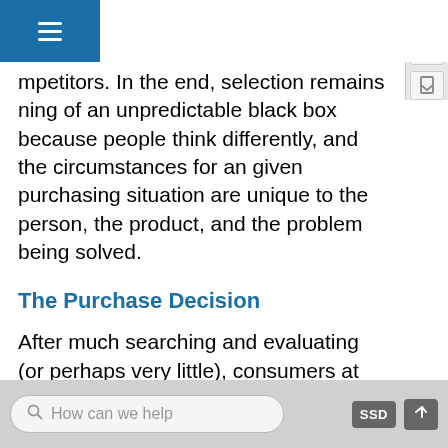mpetitors. In the end, selection remains ning of an unpredictable black box because people think differently, and the circumstances for any given purchasing situation are unique to the person, the product, and the problem being solved.
The Purchase Decision
After much searching and evaluating (or perhaps very little), consumers at some point have to decide whether they are going to buy. Anything marketers can do to simplify purchasing will be attractive to buyers. For example, in advertising, marketers might suggest the best size of product for a particular use or the right wine to drink with a particular food. Sometimes several decision situations can be combined and marketed as one package. For example, travel agents often